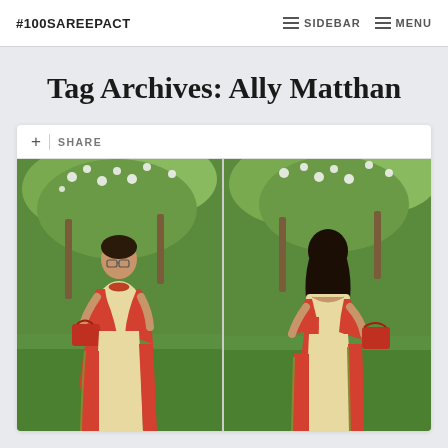#100SAREEPACT  SIDEBAR  MENU
Tag Archives: Ally Matthan
[Figure (photo): Two side-by-side photos of a woman wearing a red and cream saree outdoors with green foliage background. Left photo shows front view; right photo shows back view. The woman carries a red handbag.]